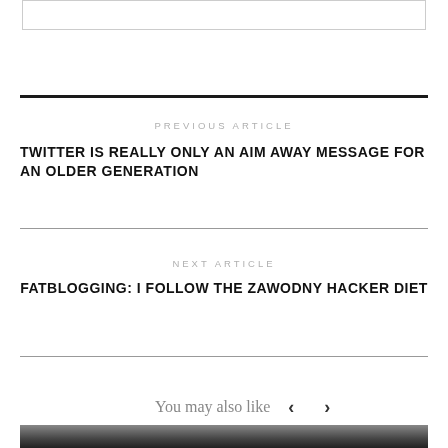PREVIOUS ARTICLE
TWITTER IS REALLY ONLY AN AIM AWAY MESSAGE FOR AN OLDER GENERATION
NEXT ARTICLE
FATBLOGGING: I FOLLOW THE ZAWODNY HACKER DIET
You may also like
[Figure (photo): Thumbnail image at bottom of page, dark gradient photo]